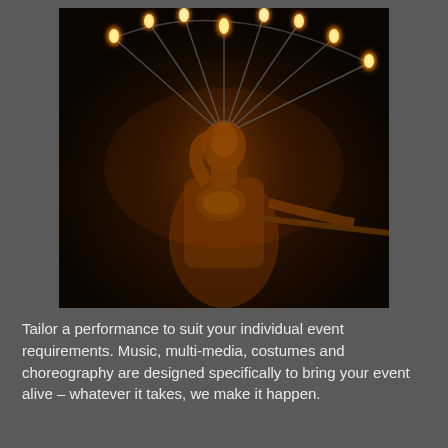[Figure (photo): A female fire performer looking upward, wearing a dramatic headdress with radiating metal spokes tipped with flames, photographed against a dark black background. She holds a fire staff extending to the right. The image has warm orange and amber tones from the fire light.]
Tailor a performance to suit your individual event requirements. Music, multi-media, costumes and choreography are designed specifically to bring your event alive – whatever it takes, we make it happen.